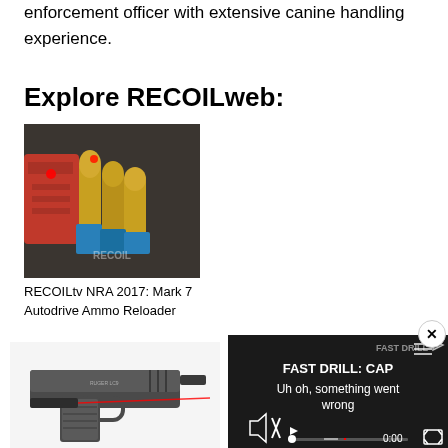enforcement officer with extensive canine handling experience.
Explore RECOILweb:
[Figure (photo): Close-up photo of gold bullets/ammo with red laser dot visible, with red device in background]
RECOILtv NRA 2017: Mark 7 Autodrive Ammo Reloader
[Figure (photo): Photo of a compact pistol with red laser sight attached]
[Figure (screenshot): Video player overlay with error message: FAST DRILL: CAP... Uh oh, something went wrong. 0:00 timestamp shown with playback controls.]